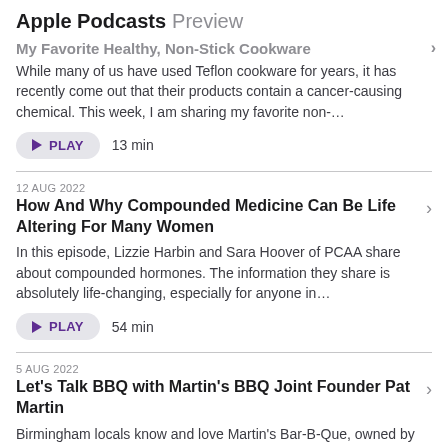Apple Podcasts Preview
My Favorite Healthy, Non-Stick Cookware
While many of us have used Teflon cookware for years, it has recently come out that their products contain a cancer-causing chemical. This week, I am sharing my favorite non-...
PLAY  13 min
12 AUG 2022
How And Why Compounded Medicine Can Be Life Altering For Many Women
In this episode, Lizzie Harbin and Sara Hoover of PCAA share about compounded hormones. The information they share is absolutely life-changing, especially for anyone in...
PLAY  54 min
5 AUG 2022
Let's Talk BBQ with Martin's BBQ Joint Founder Pat Martin
Birmingham locals know and love Martin's Bar-B-Que, owned by Pat Martin. This week, Pat joins The SavvyCast to share about his new book, Life of Fire. Episode At A Glance:...
PLAY  29 min